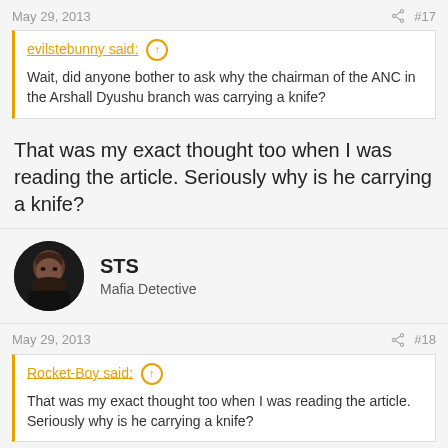May 29, 2013  #17
evilstebunny said: ↑
Wait, did anyone bother to ask why the chairman of the ANC in the Arshall Dyushu branch was carrying a knife?
That was my exact thought too when I was reading the article. Seriously why is he carrying a knife?
STS
Mafia Detective
May 29, 2013  #18
Rocket-Boy said: ↑
That was my exact thought too when I was reading the article. Seriously why is he carrying a knife?